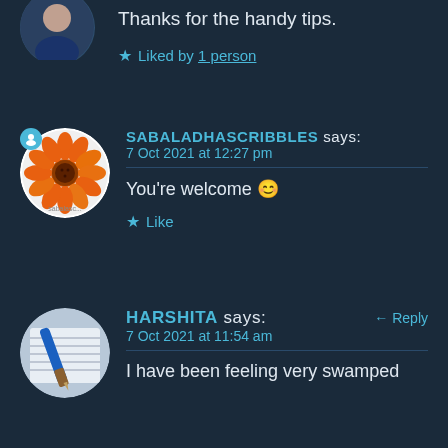[Figure (photo): Partial avatar of a person at the top left, cropped circle]
Thanks for the handy tips.
★ Liked by 1 person
[Figure (photo): Avatar of sabaladhascribbles showing an orange flower/gerbera daisy]
SABALADHASCRIBBLES says:
7 Oct 2021 at 12:27 pm
You're welcome 😊
★ Like
[Figure (photo): Avatar of Harshita showing a notebook with a blue pen]
HARSHITA says:
7 Oct 2021 at 11:54 am
I have been feeling very swamped